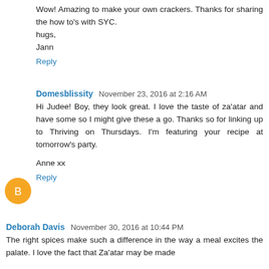Wow! Amazing to make your own crackers. Thanks for sharing the how to's with SYC.
hugs,
Jann
Reply
Domesblissity  November 23, 2016 at 2:16 AM
Hi Judee! Boy, they look great. I love the taste of za'atar and have some so I might give these a go. Thanks so for linking up to Thriving on Thursdays. I'm featuring your recipe at tomorrow's party.

Anne xx
Reply
Deborah Davis  November 30, 2016 at 10:44 PM
The right spices make such a difference in the way a meal excites the palate. I love the fact that Za'atar may be made